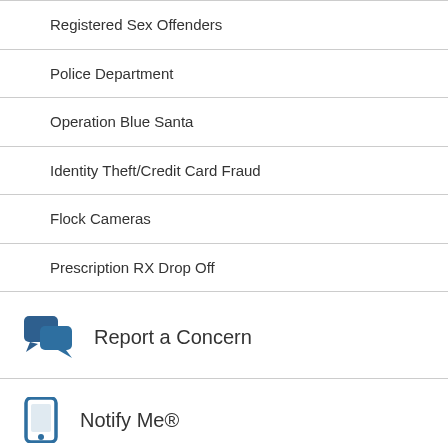Registered Sex Offenders
Police Department
Operation Blue Santa
Identity Theft/Credit Card Fraud
Flock Cameras
Prescription RX Drop Off
Report a Concern
Notify Me®